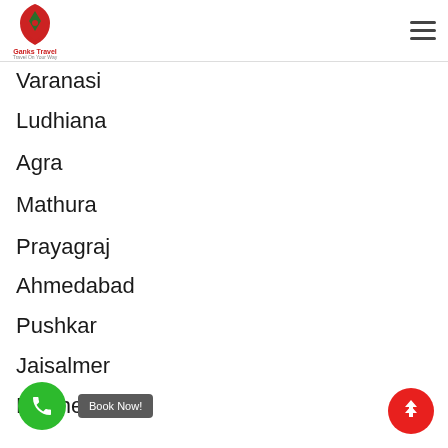[Figure (logo): Ganks Travel logo with red shield/drop shape and text below]
Varanasi
Ludhiana
Agra
Mathura
Prayagraj
Ahmedabad
Pushkar
Jaisalmer
Bikaner